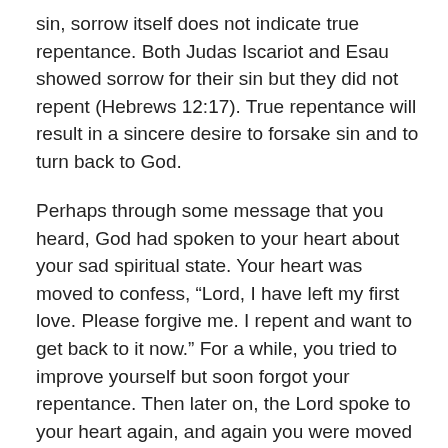sin, sorrow itself does not indicate true repentance. Both Judas Iscariot and Esau showed sorrow for their sin but they did not repent (Hebrews 12:17). True repentance will result in a sincere desire to forsake sin and to turn back to God.
Perhaps through some message that you heard, God had spoken to your heart about your sad spiritual state. Your heart was moved to confess, “Lord, I have left my first love. Please forgive me. I repent and want to get back to it now.” For a while, you tried to improve yourself but soon forgot your repentance. Then later on, the Lord spoke to your heart again, and again you were moved to repent. But again, your resolve lasted for only a short while.
Perhaps the Lord is speaking to you right now, and your heart is moved again with sorrow over your condition. Will